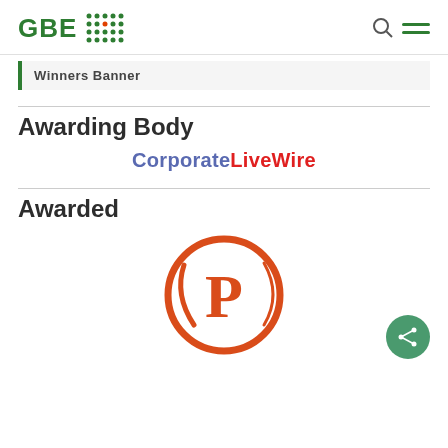GBE [logo with dots]
Winners Banner
Awarding Body
[Figure (logo): CorporateLiveWire logo text: 'Corporate' in blue, 'LiveWire' in red]
Awarded
[Figure (logo): Orange circular logo with letter P inside a decorative swirl circle]